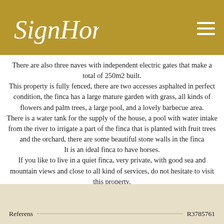SignHome logo and navigation
There are also three naves with independent electric gates that make a total of 250m2 built. This property is fully fenced, there are two accesses asphalted in perfect condition, the finca has a large mature garden with grass, all kinds of flowers and palm trees, a large pool, and a lovely barbecue area. There is a water tank for the supply of the house, a pool with water intake from the river to irrigate a part of the finca that is planted with fruit trees and the orchard, there are some beautiful stone walls in the finca It is an ideal finca to have horses. If you like to live in a quiet finca, very private, with good sea and mountain views and close to all kind of services, do not hesitate to visit this property.
Referens R3785761